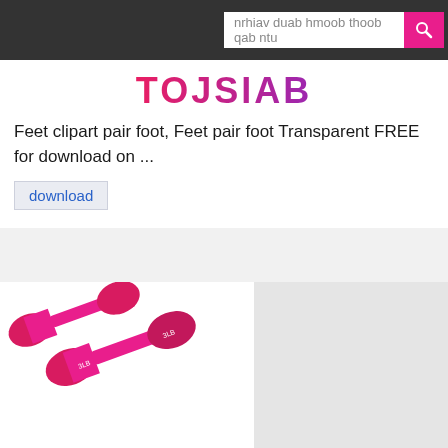[Figure (screenshot): Top navigation bar with search input containing text 'nrhiav duab hmoob thoob qab ntu' and a pink search button with magnifying glass icon]
TOJSIAB
Feet clipart pair foot, Feet pair foot Transparent FREE for download on ...
download
[Figure (photo): Two pink/magenta dumbbells lying on white background]